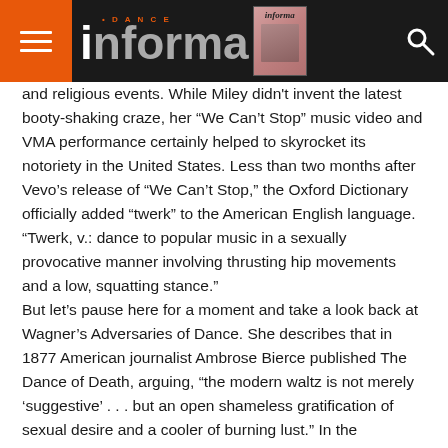Dance Informa
and religious events.  While Miley didn't invent the latest booty-shaking craze, her “We Can’t Stop” music video and VMA performance certainly helped to skyrocket its notoriety in the United States.  Less than two months after Vevo’s release of “We Can’t Stop,” the Oxford Dictionary officially added “twerk” to the American English language. “Twerk, v.: dance to popular music in a sexually provocative manner involving thrusting hip movements and a low, squatting stance.”
But let’s pause here for a moment and take a look back at Wagner’s Adversaries of Dance.  She describes that in 1877 American journalist Ambrose Bierce published The Dance of Death, arguing,  “the modern waltz is not merely ‘suggestive’ . . . but an open shameless gratification of sexual desire and a cooler of burning lust.”  In the nineteenth century, dance adversaries like Bierce condemned the waltz